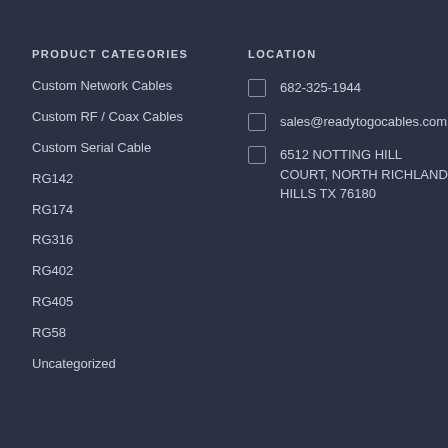PRODUCT CATEGORIES
Custom Network Cables
Custom RF / Coax Cables
Custom Serial Cable
RG142
RG174
RG316
RG402
RG405
RG58
Uncategorized
LOCATION
682-325-1944
sales@readytogocables.com
6512 NOTTING HILL COURT, NORTH RICHLAND HILLS TX 76180